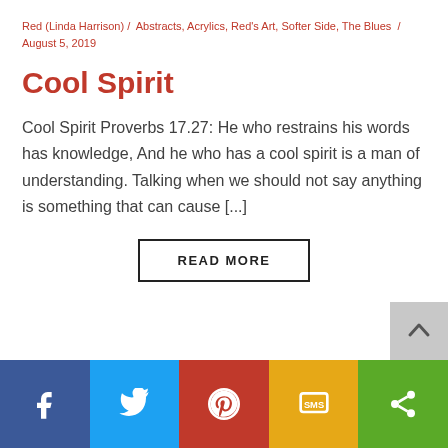Red (Linda Harrison) / Abstracts, Acrylics, Red's Art, Softer Side, The Blues / August 5, 2019
Cool Spirit
Cool Spirit Proverbs 17.27: He who restrains his words has knowledge, And he who has a cool spirit is a man of understanding. Talking when we should not say anything is something that can cause [...]
READ MORE